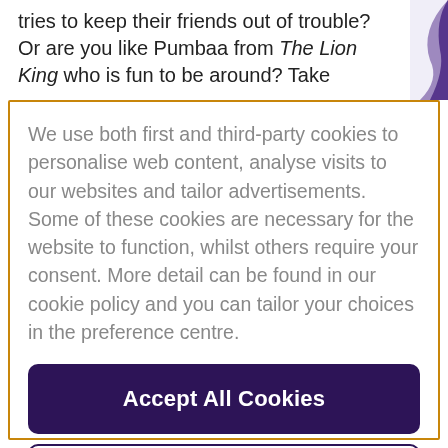tries to keep their friends out of trouble? Or are you like Pumbaa from The Lion King who is fun to be around? Take
We use both first and third-party cookies to personalise web content, analyse visits to our websites and tailor advertisements. Some of these cookies are necessary for the website to function, whilst others require your consent. More detail can be found in our cookie policy and you can tailor your choices in the preference centre.
Accept All Cookies
Cookies Settings